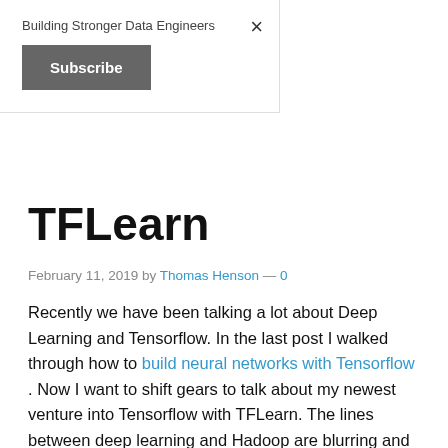Building Stronger Data Engineers
Subscribe
TFLearn
February 11, 2019 by Thomas Henson — 0
Recently we have been talking a lot about Deep Learning and Tensorflow. In the last post I walked through how to build neural networks with Tensorflow . Now I want to shift gears to talk about my newest venture into Tensorflow with TFLearn. The lines between deep learning and Hadoop are blurring and data engineers need to understand the basics